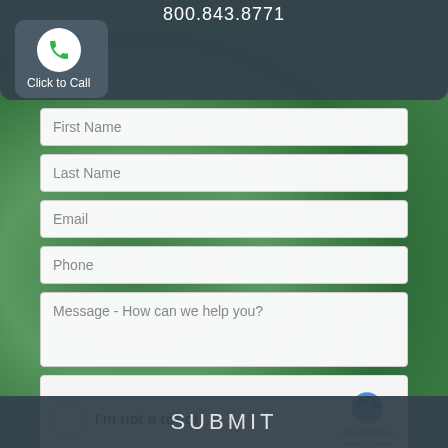800.843.8771
[Figure (screenshot): Click to Call button with phone icon in a white circle on dark panel]
Click to Call
[Figure (screenshot): Contact form with fields: First Name, Last Name, Email, Phone, Message - How can we help you?]
First Name
Last Name
Email
Phone
Message - How can we help you?
[Figure (screenshot): reCAPTCHA widget with checkbox and I'm not a robot text]
I'm not a robot
reCAPTCHA
Privacy - Terms
SUBMIT